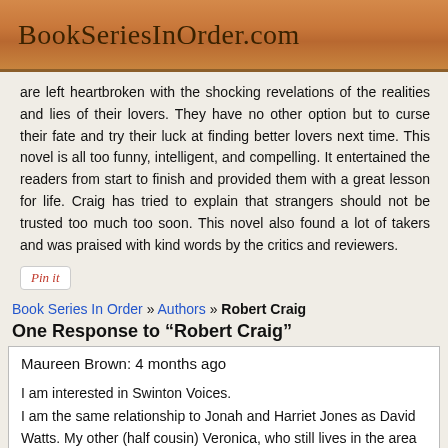BookSeriesInOrder.com
are left heartbroken with the shocking revelations of the realities and lies of their lovers. They have no other option but to curse their fate and try their luck at finding better lovers next time. This novel is all too funny, intelligent, and compelling. It entertained the readers from start to finish and provided them with a great lesson for life. Craig has tried to explain that strangers should not be trusted too much too soon. This novel also found a lot of takers and was praised with kind words by the critics and reviewers.
[Figure (other): Pin it button]
Book Series In Order » Authors » Robert Craig
One Response to “Robert Craig”
Maureen Brown: 4 months ago

I am interested in Swinton Voices.
I am the same relationship to Jonah and Harriet Jones as David Watts. My other (half cousin) Veronica, who still lives in the area is in touch with me.